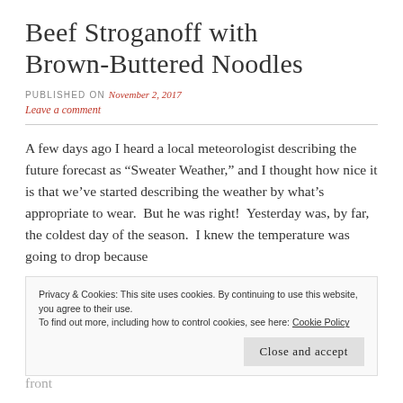Beef Stroganoff with Brown-Buttered Noodles
PUBLISHED ON November 2, 2017
Leave a comment
A few days ago I heard a local meteorologist describing the future forecast as “Sweater Weather,” and I thought how nice it is that we’ve started describing the weather by what’s appropriate to wear.  But he was right!  Yesterday was, by far, the coldest day of the season.  I knew the temperature was going to drop because
Privacy & Cookies: This site uses cookies. By continuing to use this website, you agree to their use.
To find out more, including how to control cookies, see here: Cookie Policy
Close and accept
winter, the wind rustles and moans on the caves above the front